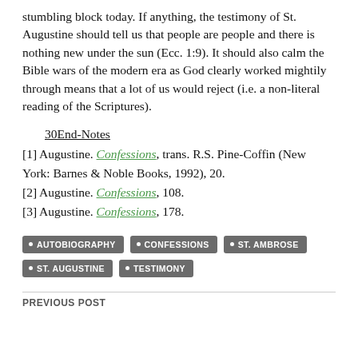stumbling block today. If anything, the testimony of St. Augustine should tell us that people are people and there is nothing new under the sun (Ecc. 1:9). It should also calm the Bible wars of the modern era as God clearly worked mightily through means that a lot of us would reject (i.e. a non-literal reading of the Scriptures).
30End-Notes
[1] Augustine. Confessions, trans. R.S. Pine-Coffin (New York: Barnes & Noble Books, 1992), 20.
[2] Augustine. Confessions, 108.
[3] Augustine. Confessions, 178.
Tags: AUTOBIOGRAPHY, CONFESSIONS, ST. AMBROSE, ST. AUGUSTINE, TESTIMONY
PREVIOUS POST